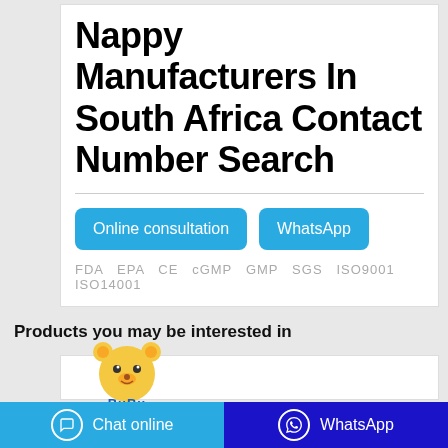Nappy Manufacturers In South Africa Contact Number Search
Online consultation   WhatsApp
FDA  EPA  CE  cGMP  GMP  SGS  ISO9001  ISO14001
Products you may be interested in
[Figure (logo): BuBu brand logo with cartoon bear character]
Chat online   WhatsApp